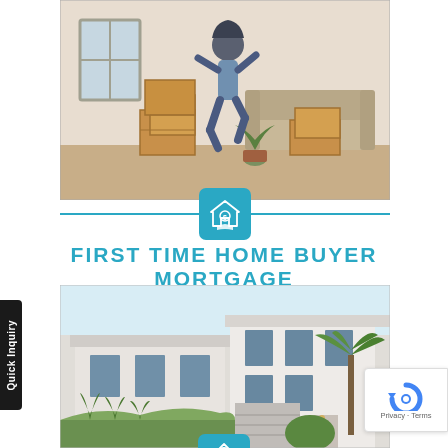[Figure (photo): Person jumping joyfully in a room with moving boxes and a sofa in the background]
FIRST TIME HOME BUYER MORTGAGE
[Figure (photo): Modern two-story white house exterior with tropical plants and palm trees]